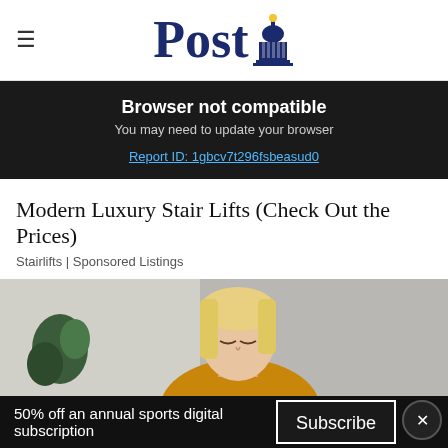Yorkshire Evening Post
Browser not compatible
You may need to update your browser
Report ID: 1gbcv7t296fsbeasud0
Modern Luxury Stair Lifts (Check Out the Prices)
Stairlifts | Sponsored Listings
[Figure (photo): Blonde woman looking downward, wearing a mustard/yellow sweater, with a plant visible in the background]
50% off an annual sports digital subscription  Subscribe